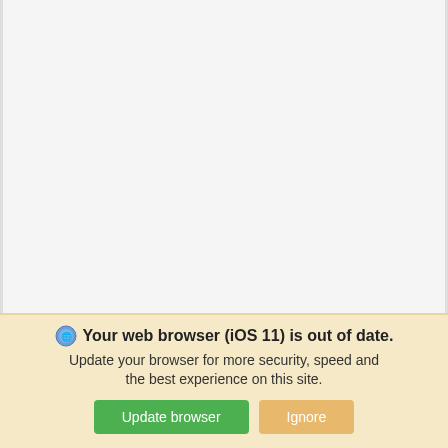[Figure (photo): White/empty image area representing a car photo placeholder for the 2019 Chevrolet Traverse AWD listing]
Used 2019 Chevrolet Traverse AWD
LT Leather SUV Sport Utility 9-Speed Automatic    33,050 Miles
Sale Price $35,296
Automatic   AWD   33,050 miles   Gas V6 3.6L/217
*First Name   *Last Name
Your web browser (iOS 11) is out of date. Update your browser for more security, speed and the best experience on this site.
Update browser   Ignore